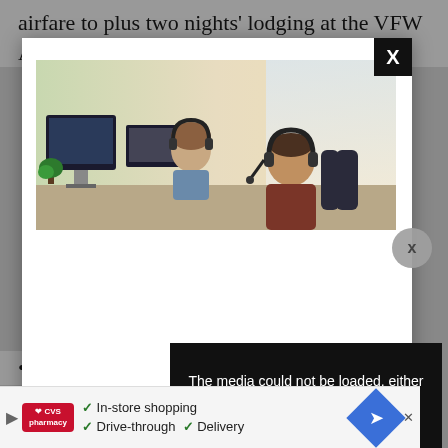airfare to plus two nights' lodging at the VFW Auxiliary National Convention.
[Figure (screenshot): Web page screenshot showing a modal popup with an image of two people wearing headsets working at computers, overlaid on a grey background page. A video error message panel reads: 'The media could not be loaded, either because the server or network failed or because the format is not supported.' with an X close button. A CVS Pharmacy advertisement banner is shown at the bottom.]
5th-8th place: $500
The media could not be loaded, either because the server or network failed or because the format is not supported.